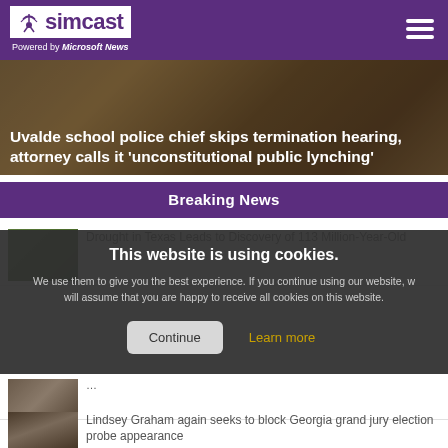simcast — Powered by Microsoft News
[Figure (photo): Hero image with news headline overlay: Uvalde school police chief skips termination hearing, attorney calls it 'unconstitutional public lynching']
Uvalde school police chief skips termination hearing, attorney calls it 'unconstitutional public lynching'
Breaking News
[Figure (photo): Thumbnail image of greenery/outdoor scene for drought news story]
Drought in Texas Leads to Discovery of 113 Million-Year-Old
[Figure (screenshot): Cookie consent overlay popup on the website]
[Figure (photo): Thumbnail image of Lindsey Graham]
Lindsey Graham again seeks to block Georgia grand jury election probe appearance
UPI News